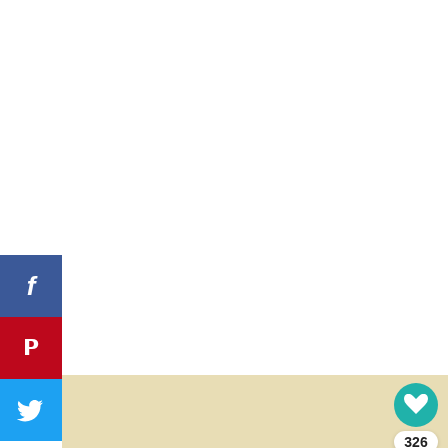[Figure (illustration): Social media sidebar with Facebook (blue), Pinterest (red), and Twitter (light blue) share buttons, each with their respective icons]
[Figure (illustration): Vintage engraving/illustration of two tigers on a cream/tan background — one tiger lying down facing left, one standing facing right. Black and white striped artwork in classical natural history style.]
[Figure (other): Interactive overlay elements: teal heart/like button showing 326 likes, a share button, and a 'WHAT'S NEXT' panel with thumbnail and text 'Printable Vintage Owl...']